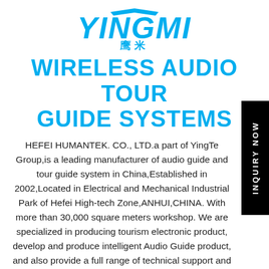[Figure (logo): YINGMI logo with Chinese characters 鹰米 in blue]
WIRELESS AUDIO TOUR GUIDE SYSTEMS
HEFEI HUMANTEK. CO., LTD.a part of YingTe Group,is a leading manufacturer of audio guide and tour guide system in China,Established in 2002,Located in Electrical and Mechanical Industrial Park of Hefei High-tech Zone,ANHUI,CHINA. With more than 30,000 square meters workshop. We are specialized in producing tourism electronic product, develop and produce intelligent Audio Guide product, and also provide a full range of technical support and services. With more than the electronic industry O...